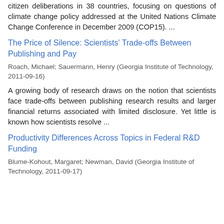citizen deliberations in 38 countries, focusing on questions of climate change policy addressed at the United Nations Climate Change Conference in December 2009 (COP15). ...
The Price of Silence: Scientists' Trade-offs Between Publishing and Pay
Roach, Michael; Sauermann, Henry (Georgia Institute of Technology, 2011-09-16)
A growing body of research draws on the notion that scientists face trade-offs between publishing research results and larger financial returns associated with limited disclosure. Yet little is known how scientists resolve ...
Productivity Differences Across Topics in Federal R&D Funding
Blume-Kohout, Margaret; Newman, David (Georgia Institute of Technology, 2011-09-17)